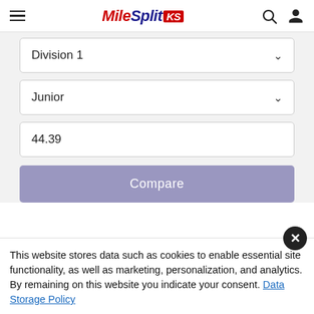MileSplit KS
Division 1
Junior
44.39
Compare
This website stores data such as cookies to enable essential site functionality, as well as marketing, personalization, and analytics. By remaining on this website you indicate your consent. Data Storage Policy